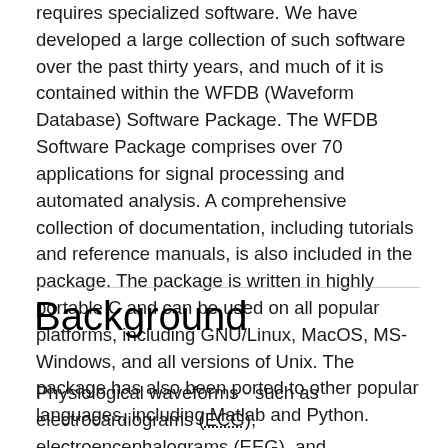requires specialized software. We have developed a large collection of such software over the past thirty years, and much of it is contained within the WFDB (Waveform Database) Software Package. The WFDB Software Package comprises over 70 applications for signal processing and automated analysis. A comprehensive collection of documentation, including tutorials and reference manuals, is also included in the package. The package is written in highly portable C and can be used on all popular platforms, including GNU/Linux, MacOS, MS-Windows, and all versions of Unix. The package has also been ported to other popular languages, including Matlab and Python.
Background
Physiological waveforms - such as electrocardiograms (ECG), electroencephalograms (EEG), and